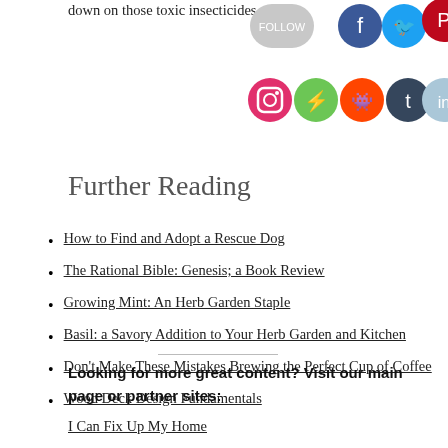down on those toxic insecticides.
[Figure (illustration): Social media icons row 1: Follow button (gray), Facebook (blue), Twitter (blue), Pinterest (red). Row 2: Instagram (pink/orange), Feedly (green), Reddit (orange), Tumblr (dark gray), LinkedIn (light blue).]
Further Reading
How to Find and Adopt a Rescue Dog
The Rational Bible: Genesis; a Book Review
Growing Mint: An Herb Garden Staple
Basil: a Savory Addition to Your Herb Garden and Kitchen
Don't Make These Mistakes Brewing the Perfect Cup of Coffee
Wood Deck Design Fundamentals
Looking for more great content? Visit our main page or partner sites:
I Can Fix Up My Home